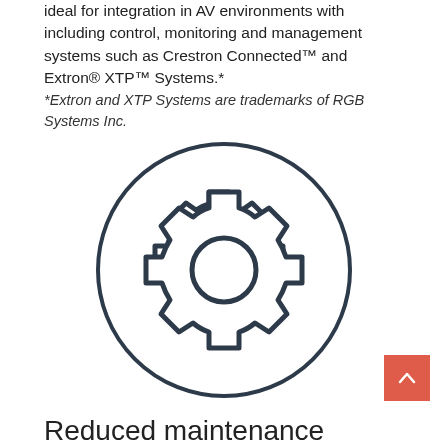ideal for integration in AV environments with including control, monitoring and management systems such as Crestron Connected™ and Extron® XTP™ Systems.*
*Extron and XTP Systems are trademarks of RGB Systems Inc.
[Figure (illustration): A gear/settings icon inside a circle outline]
Reduced maintenance